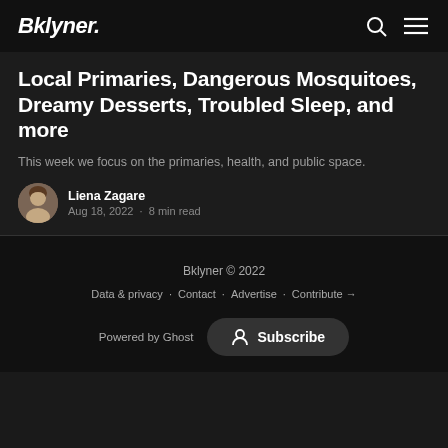Bklyner.
Local Primaries, Dangerous Mosquitoes, Dreamy Desserts, Troubled Sleep, and more
This week we focus on the primaries, health, and public space.
Liena Zagare
Aug 18, 2022 · 8 min read
Bklyner © 2022
Data & privacy · Contact · Advertise · Contribute →
Powered by Ghost